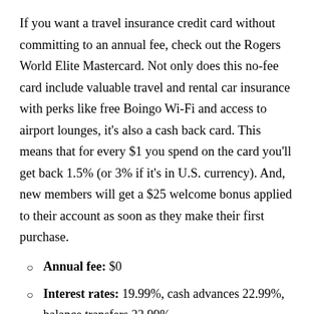If you want a travel insurance credit card without committing to an annual fee, check out the Rogers World Elite Mastercard. Not only does this no-fee card include valuable travel and rental car insurance with perks like free Boingo Wi-Fi and access to airport lounges, it's also a cash back card. This means that for every $1 you spend on the card you'll get back 1.5% (or 3% if it's in U.S. currency). And, new members will get a $25 welcome bonus applied to their account as soon as they make their first purchase.
Annual fee: $0
Interest rates: 19.99%, cash advances 22.99%, balance transfers 22.99%